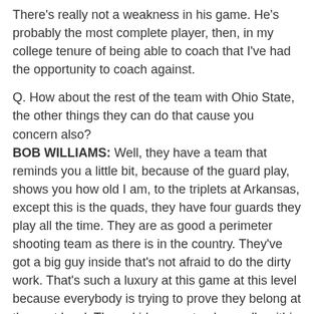There's really not a weakness in his game. He's probably the most complete player, then, in my college tenure of being able to coach that I've had the opportunity to coach against.
Q. How about the rest of the team with Ohio State, the other things they can do that cause you concern also?
BOB WILLIAMS: Well, they have a team that reminds you a little bit, because of the guard play, shows you how old I am, to the triplets at Arkansas, except this is the quads, they have four guards they play all the time. They are as good a perimeter shooting team as there is in the country. They've got a big guy inside that's not afraid to do the dirty work. That's such a luxury at this game at this level because everybody is trying to prove they belong at the next level. These kids seem to play really within themselves and really well together. And Coach Matta deserves a lot of credit with that. And how versatile those four guards are in terms of their ability to rebound and defend, but they all handle it, they all pass it and they all shoot it. And I gotta think it's a coach's dream to coach.
I mean, I have to think that has to be about as fun as any team in this country to coach because of how versatile the